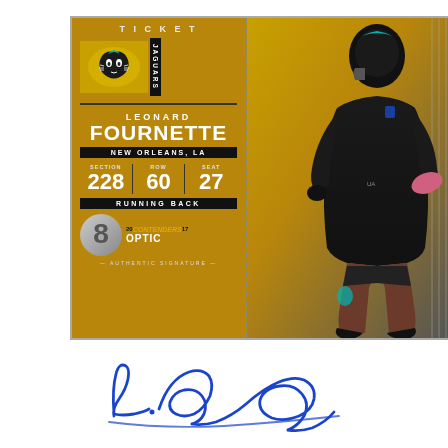[Figure (illustration): 2017 Panini Contenders Optic football card for Leonard Fournette of the Jacksonville Jaguars. Left stub shows team logo, player name, New Orleans LA hometown, ticket fields (Section 228, Row 60, Seat 27), Running Back position, and Contenders Optic 2017 branding with Authentic Signature text. Right side shows action photo of player in Jaguars uniform.]
LEONARD FOURNETTE
JAGUARS
NEW ORLEANS, LA
SECTION 228  ROW 60  SEAT 27
RUNNING BACK
CONTENDERS OPTIC 2017
— AUTHENTIC SIGNATURE —
[Figure (illustration): Blue ink cursive autograph signature of Leonard Fournette]